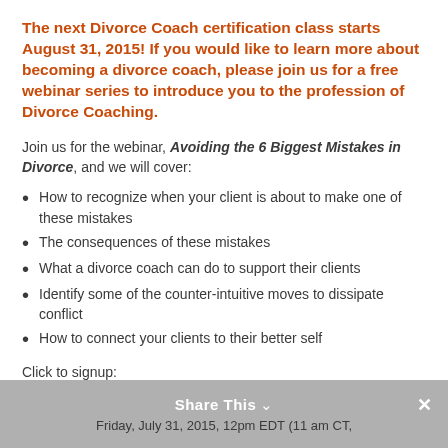The next Divorce Coach certification class starts August 31, 2015! If you would like to learn more about becoming a divorce coach, please join us for a free webinar series to introduce you to the profession of Divorce Coaching.
Join us for the webinar, Avoiding the 6 Biggest Mistakes in Divorce, and we will cover:
How to recognize when your client is about to make one of these mistakes
The consequences of these mistakes
What a divorce coach can do to support their clients
Identify some of the counter-intuitive moves to dissipate conflict
How to connect your clients to their better self
Click to signup:
Share This  ×
Friday, July 31, 2015, 12pm EDT (11 am CT,